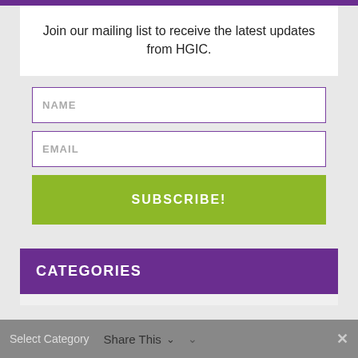Join our mailing list to receive the latest updates from HGIC.
[Figure (other): Web form with NAME input field, EMAIL input field, and SUBSCRIBE! button on gray background]
CATEGORIES
Select Category   Share This ∨   ×